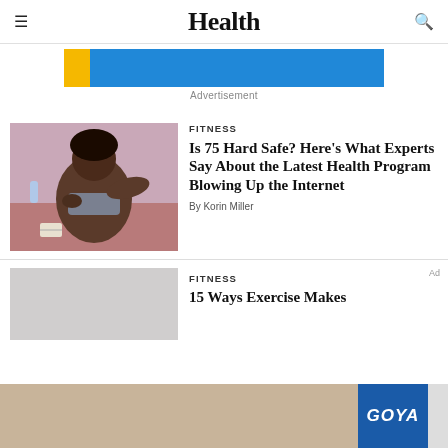Health
[Figure (other): Advertisement banner — blue rectangle with yellow accent]
Advertisement
FITNESS
[Figure (photo): Woman in athletic wear stretching outdoors on a track]
Is 75 Hard Safe? Here's What Experts Say About the Latest Health Program Blowing Up the Internet
By Korin Miller
FITNESS
15 Ways Exercise Makes
[Figure (other): Goya brand advertisement banner at bottom of page]